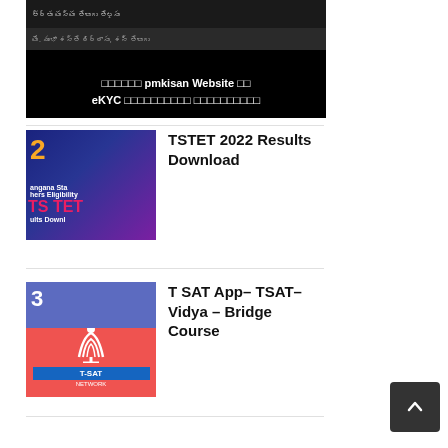[Figure (screenshot): Banner image showing pmkisan website eKYC instructions in Telugu script with dark background and white bold text overlay]
[Figure (screenshot): Telangana State Teachers Eligibility Test (TS TET) results download thumbnail with number 2, blue/purple background and pink TS TET text]
TSTET 2022 Results Download
[Figure (screenshot): T-SAT Network logo thumbnail with number 3, blue and red background with white T-SAT logo]
T SAT App- TSAT- Vidya – Bridge Course